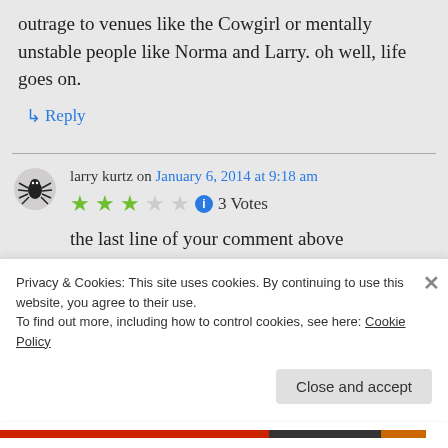outrage to venues like the Cowgirl or mentally unstable people like Norma and Larry. oh well, life goes on.
↳ Reply
larry kurtz on January 6, 2014 at 9:18 am
[Figure (other): Star rating: 2.5 out of 5 stars with info icon, showing 3 Votes]
the last line of your comment above
Privacy & Cookies: This site uses cookies. By continuing to use this website, you agree to their use.
To find out more, including how to control cookies, see here: Cookie Policy
Close and accept